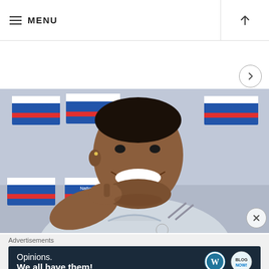MENU
[Figure (photo): A smiling man wearing a light grey England football kit at a press conference, with Nationwide sponsor boards visible in the background.]
Advertisements
[Figure (other): Advertisement banner with dark navy background showing 'Opinions. We all have them!' with WordPress and Blog logos on the right.]